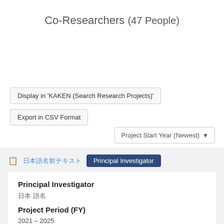Co-Researchers (47 People)
Display in 'KAKEN (Search Research Projects)'
Export in CSV Format
Project Start Year (Newest)
Principal Investigator (Japanese name text) Principal Investigator
Principal Investigator
Japanese name text
Project Period (FY)
2021 – 2025
Research Category